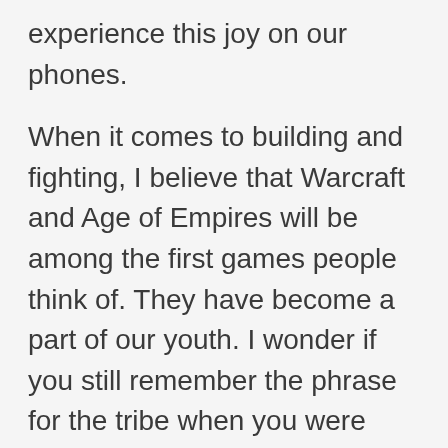experience this joy on our phones.
When it comes to building and fighting, I believe that Warcraft and Age of Empires will be among the first games people think of. They have become a part of our youth. I wonder if you still remember the phrase for the tribe when you were under the siege. No doubt that some players still remember when the cursor flashes on the battlefield, as they defend themselves from the oncoming night elves.
Many players will remember looking for cheat codes in Age of Empires to summon the Flying Dutchman. There are plenty of pleasant memories that have stuck with gamers since their youth.